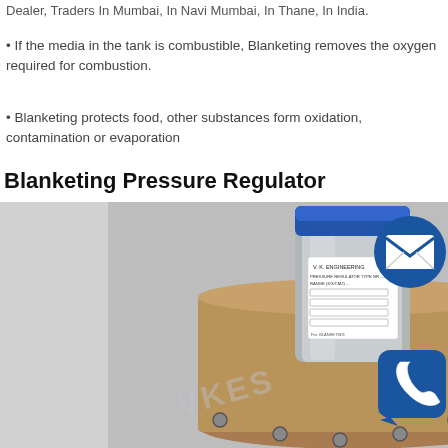Dealer, Traders In Mumbai, In Navi Mumbai, In Thane, In India.
• If the media in the tank is combustible, Blanketing removes the oxygen required for combustion.
• Blanketing protects food, other substances form oxidation, contamination or evaporation
Blanketing Pressure Regulator
[Figure (photo): Photo of a Blanketing Pressure Regulator device — a cylindrical metallic body with blue cap on top, a label reading V.K. ENGINEERING and PRESSURE REGULATOR specs, and a flanged base. An email icon (envelope in blue circle) and a phone/chat icon (blue rounded-square with handset) are overlaid on the right side.]